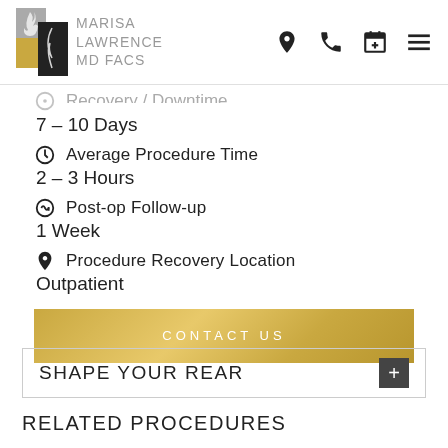[Figure (logo): Marisa Lawrence MD FACS logo with geometric graphic and text]
7 – 10 Days
⏰ Average Procedure Time
2 – 3 Hours
🔄 Post-op Follow-up
1 Week
📍 Procedure Recovery Location
Outpatient
CONTACT US
SHAPE YOUR REAR
RELATED PROCEDURES